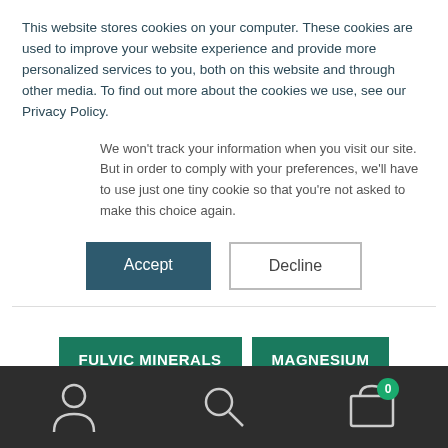This website stores cookies on your computer. These cookies are used to improve your website experience and provide more personalized services to you, both on this website and through other media. To find out more about the cookies we use, see our Privacy Policy.
We won't track your information when you visit our site. But in order to comply with your preferences, we'll have to use just one tiny cookie so that you're not asked to make this choice again.
Accept
Decline
FULVIC MINERALS
MAGNESIUM
SCIENCE
ZINC
Navigation bar with user, search, and cart icons